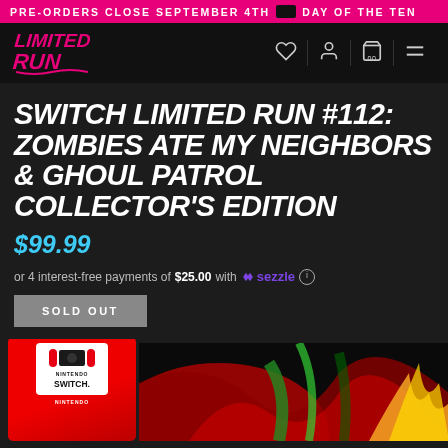PRE-ORDERS CLOSE SEPTEMBER 4TH  DAY OF THE TEN
[Figure (logo): Limited Run Games logo in pink/magenta stylized text on black background]
SWITCH LIMITED RUN #112: ZOMBIES ATE MY NEIGHBORS & GHOUL PATROL COLLECTOR'S EDITION
$99.99
or 4 interest-free payments of $25.00 with Sezzle ⓘ
SOLD OUT
[Figure (photo): Nintendo Switch collector's edition box set with game art featuring colorful zombie-themed artwork]